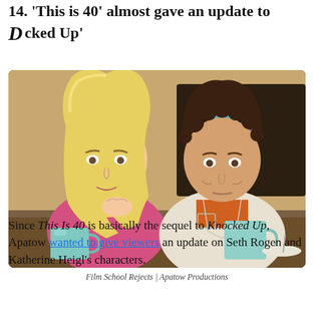14. 'This is 40' almost gave an update to Knocked Up'
[Figure (photo): Scene from the movie Knocked Up showing a blonde woman (Katherine Heigl) and a curly-haired man (Seth Rogen) sitting at a table with blue mugs, looking away from each other]
Film School Rejects | Apatow Productions
Since This Is 40 is basically the sequel to Knocked Up, Apatow wanted to give viewers an update on Seth Rogen and Katherine Heigl's characters.